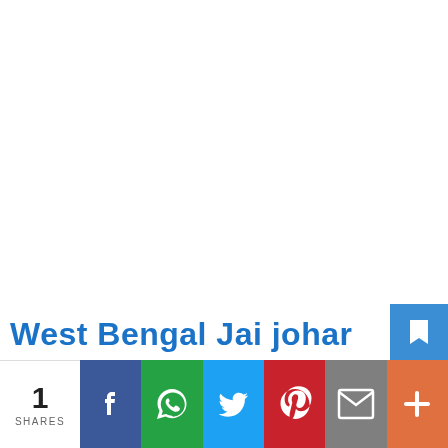West Bengal Jai johar
[Figure (infographic): Social share bar with count 1 SHARES and buttons for Facebook, WhatsApp, Twitter, Pinterest, Email, More]
1 SHARES